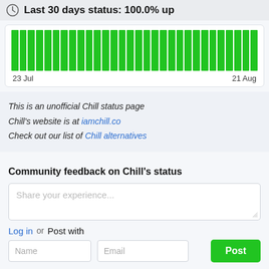Last 30 days status: 100.0% up
[Figure (bar-chart): Last 30 days uptime]
23 Jul	21 Aug
This is an unofficial Chill status page
Chill's website is at iamchill.co
Check out our list of Chill alternatives
Community feedback on Chill's status
Share your experience...
Log in or Post with
Name	Email	Post